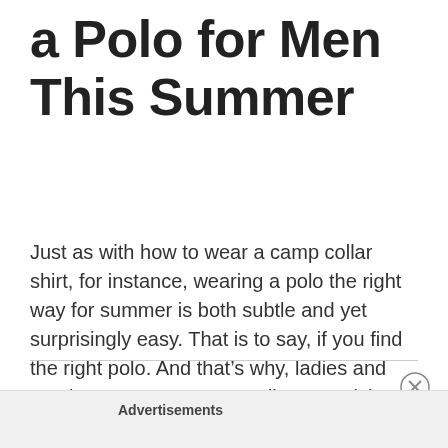a Polo for Men This Summer
Just as with how to wear a camp collar shirt, for instance, wearing a polo the right way for summer is both subtle and yet surprisingly easy. That is to say, if you find the right polo. And that's why, ladies and gentlemen, I'm recommending you pick a newly classic and easygoing, yet stylish, Todd […]
Advertisements